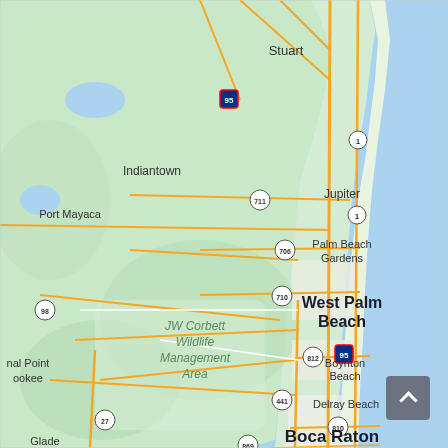[Figure (map): Google Maps view of Southeast Florida coast showing Stuart, Indiantown, Port Mayaca, JW Corbett Wildlife Management Area, Jupiter, Palm Beach Gardens, West Palm Beach, Boynton Beach, Delray Beach, Boca Raton, Pompano Beach. Roads including I-95, US-1, FL-711, FL-706, FL-710, FL-812, FL-441, FL-810, FL-869, FL-27, FL-98 are visible. Atlantic Ocean appears as blue on the right side. Land is shown in light green.]